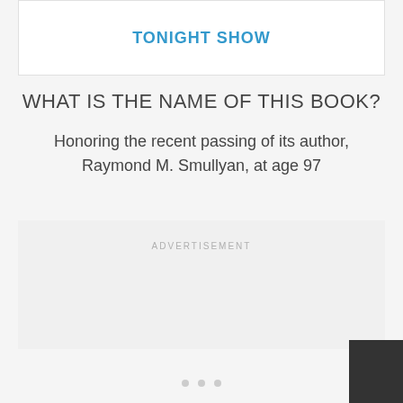[Figure (screenshot): Card or banner element showing 'TONIGHT SHOW' in blue text on white background with border]
WHAT IS THE NAME OF THIS BOOK?
Honoring the recent passing of its author, Raymond M. Smullyan, at age 97
ADVERTISEMENT